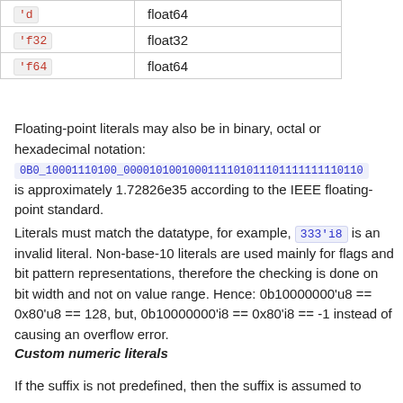|  | float2 |
| --- | --- |
| 'd | float64 |
| 'f32 | float32 |
| 'f64 | float64 |
Floating-point literals may also be in binary, octal or hexadecimal notation: 0B0_10001110100_0000101001000111101011101111111110110 is approximately 1.72826e35 according to the IEEE floating-point standard.
Literals must match the datatype, for example, 333'i8 is an invalid literal. Non-base-10 literals are used mainly for flags and bit pattern representations, therefore the checking is done on bit width and not on value range. Hence: 0b10000000'u8 == 0x80'u8 == 128, but, 0b10000000'i8 == 0x80'i8 == -1 instead of causing an overflow error.
Custom numeric literals
If the suffix is not predefined, then the suffix is assumed to